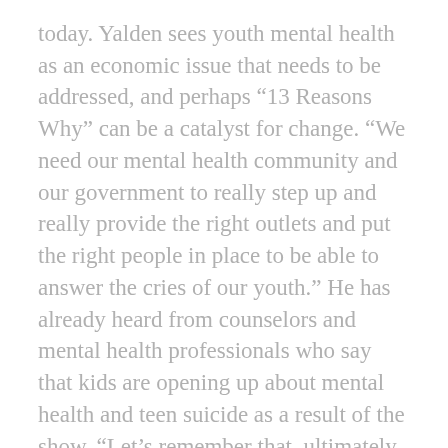today. Yalden sees youth mental health as an economic issue that needs to be addressed, and perhaps “13 Reasons Why” can be a catalyst for change. “We need our mental health community and our government to really step up and really provide the right outlets and put the right people in place to be able to answer the cries of our youth.” He has already heard from counselors and mental health professionals who say that kids are opening up about mental health and teen suicide as a result of the show. “Let’s remember that, ultimately – this is what we want to do. We want to get kids to ask for help – and because now kids are asking for help, we’re putting blame on this TV show, when the reality